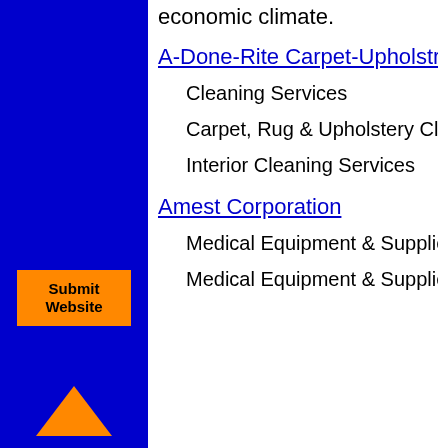economic climate.
A-Done-Rite Carpet-Upholstery
Cleaning Services
Carpet, Rug & Upholstery Cleaning
Interior Cleaning Services
Amest Corporation
Medical Equipment & Supplies R
Medical Equipment & Supplies W